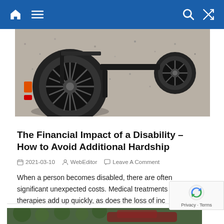Navigation bar with home, menu, search, and shuffle icons
[Figure (photo): Close-up photo of wheelchair wheels on a gravel surface, showing orange/red reflectors and black rubber tires]
The Financial Impact of a Disability – How to Avoid Additional Hardship
2021-03-10   WebEditor   Leave A Comment
When a person becomes disabled, there are often significant unexpected costs. Medical treatments and therapies add up quickly, as does the loss of inc   Read More...
[Figure (photo): Partially visible green foliage and car at bottom of page]